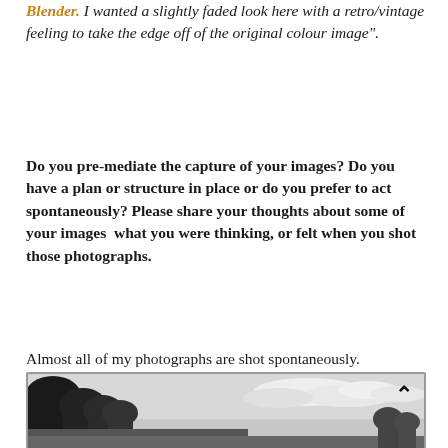Blender. I wanted a slightly faded look here with a retro/vintage feeling to take the edge off of the original colour image".
Do you pre-mediate the capture of your images? Do you have a plan or structure in place or do you prefer to act spontaneously? Please share your thoughts about some of your images  what you were thinking, or felt when you shot those photographs.
Almost all of my photographs are shot spontaneously. I usually just try to go with the flow and try not to get too structured when I am out shooting. If I trust my intuition it usually works out well.
[Figure (photo): Black and white photograph showing silhouettes of trees on the left and a cloudy sky on the right, with a chevron/caret icon in the upper right corner of the image frame.]